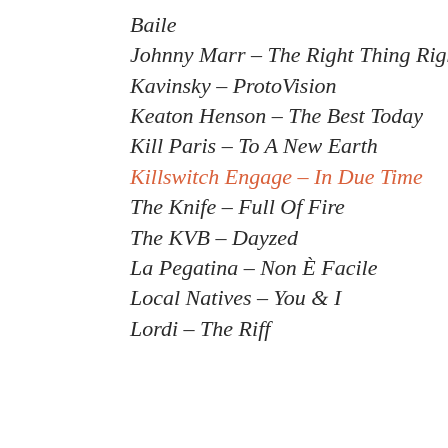Baile
Johnny Marr – The Right Thing Right
Kavinsky – ProtoVision
Keaton Henson – The Best Today
Kill Paris – To A New Earth
Killswitch Engage – In Due Time
The Knife – Full Of Fire
The KVB – Dayzed
La Pegatina – Non È Facile
Local Natives – You & I
Lordi – The Riff